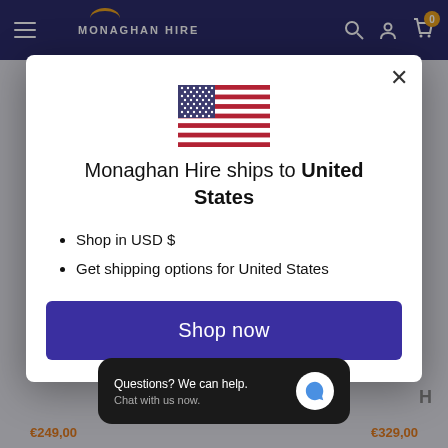[Figure (screenshot): Monaghan Hire website navigation bar with logo, hamburger menu, search icon, account icon, and cart icon with 0 badge]
[Figure (screenshot): Modal dialog showing US flag emoji, shipping info, bullet points, and Shop now button]
Monaghan Hire ships to United States
Shop in USD $
Get shipping options for United States
Shop now
Questions? We can help.
Chat with us now.
€249,00
€329,00